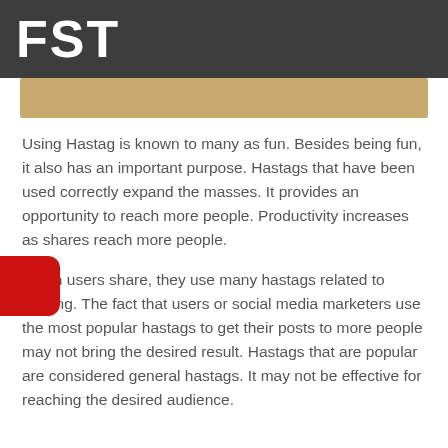FST
[Figure (photo): Partial view of a tan/beige textured surface (cardboard or corkboard), cropped at top of content area.]
Using Hastag is known to many as fun. Besides being fun, it also has an important purpose. Hastags that have been used correctly expand the masses. It provides an opportunity to reach more people. Productivity increases as shares reach more people.
When users share, they use many hastags related to sharing. The fact that users or social media marketers use the most popular hastags to get their posts to more people may not bring the desired result. Hastags that are popular are considered general hastags. It may not be effective for reaching the desired audience.